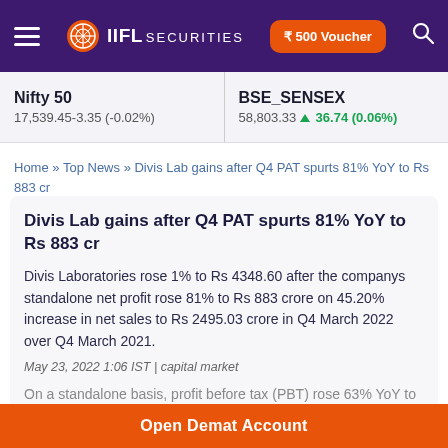IIFL SECURITIES | ₹500 Voucher
Nifty 50
17,539.45-3.35 (-0.02%)
BSE_SENSEX
58,803.33 ▲36.74 (0.06%)
Home » Top News » Divis Lab gains after Q4 PAT spurts 81% YoY to Rs 883 cr
Divis Lab gains after Q4 PAT spurts 81% YoY to Rs 883 cr
Divis Laboratories rose 1% to Rs 4348.60 after the companys standalone net profit rose 81% to Rs 883 crore on 45.20% increase in net sales to Rs 2495.03 crore in Q4 March 2022 over Q4 March 2021.
May 23, 2022 1:06 IST | capital market
On a standalone basis, profit before tax (PBT) rose 63% YoY to Rs 1066 crore in Q4 FY22. During the quarter, total expenses rose 35.88% to Rs 1,479.85 crore. Cost of material consumed
Open Demat Account